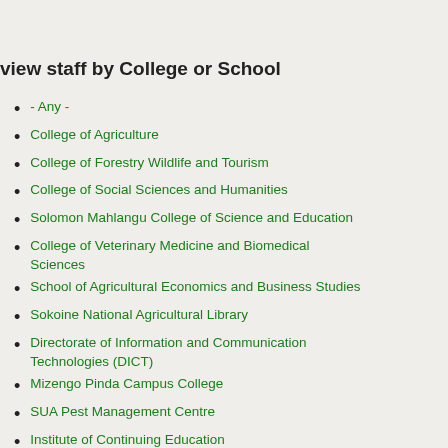view staff by College or School
- Any -
College of Agriculture
College of Forestry Wildlife and Tourism
College of Social Sciences and Humanities
Solomon Mahlangu College of Science and Education
College of Veterinary Medicine and Biomedical Sciences
School of Agricultural Economics and Business Studies
Sokoine National Agricultural Library
Directorate of Information and Communication Technologies (DICT)
Mizengo Pinda Campus College
SUA Pest Management Centre
Institute of Continuing Education